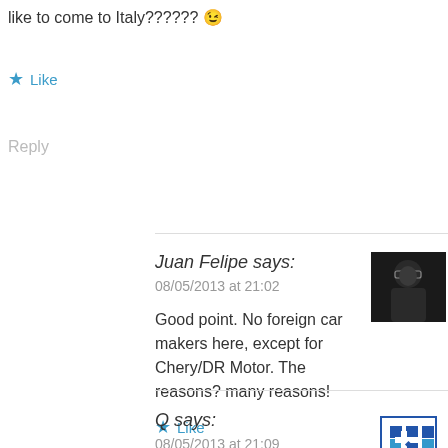like to come to Italy?????? 😉
★ Like
Reply
Juan Felipe says:
08/05/2013 at 21:02

Good point. No foreign car makers here, except for Chery/DR Motor. The reasons? many reasons!

★ Like
Q says:
08/05/2013 at 21:09